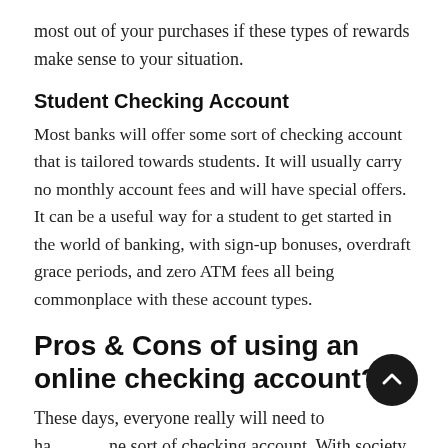most out of your purchases if these types of rewards make sense to your situation.
Student Checking Account
Most banks will offer some sort of checking account that is tailored towards students. It will usually carry no monthly account fees and will have special offers. It can be a useful way for a student to get started in the world of banking, with sign-up bonuses, overdraft grace periods, and zero ATM fees all being commonplace with these account types.
Pros & Cons of using an online checking account?
These days, everyone really will need to have some sort of checking account. With society moving away